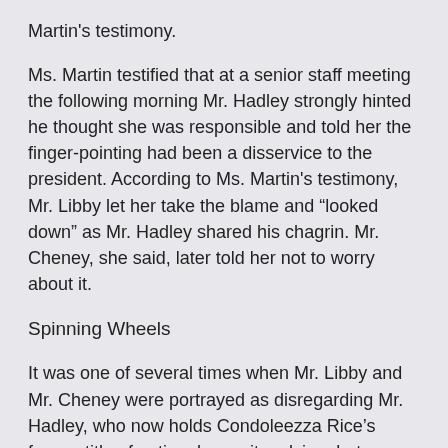Martin's testimony.
Ms. Martin testified that at a senior staff meeting the following morning Mr. Hadley strongly hinted he thought she was responsible and told her the finger-pointing had been a disservice to the president. According to Ms. Martin's testimony, Mr. Libby let her take the blame and “looked down” as Mr. Hadley shared his chagrin. Mr. Cheney, she said, later told her not to worry about it.
Spinning Wheels
It was one of several times when Mr. Libby and Mr. Cheney were portrayed as disregarding Mr. Hadley, who now holds Condoleezza Rice’s former title of national security adviser but was then her second in command.
At a meeting on July 10, Mr. Hadley had suggested to Mr. Libby and Mr. Cheney that the intelligence estimate could be leaked to a friendly reporter, Mr. Libby testified that his notes said. But neither he nor Mr. Cheney told Mr. Hadley that they had started trying to do so days earlier.